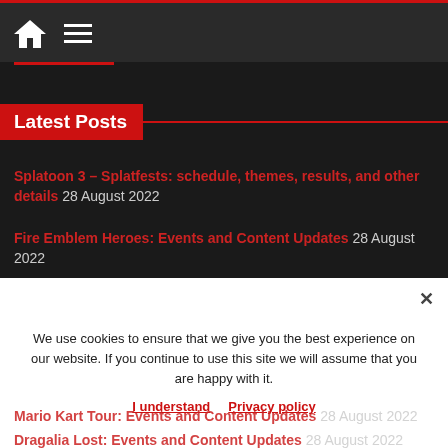Home Menu
Latest Posts
Splatoon 3 – Splatfests: schedule, themes, results, and other details 28 August 2022
Fire Emblem Heroes: Events and Content Updates 28 August 2022
Pokémon Café ReMix (Switch, Mobile): Events and Content Updates 28 August 2022
Mario Kart Tour: Events and Content Updates 28 August 2022
Dragalia Lost: Events and Content Updates 28 August 2022
We use cookies to ensure that we give you the best experience on our website. If you continue to use this site we will assume that you are happy with it.
I understand   Privacy policy